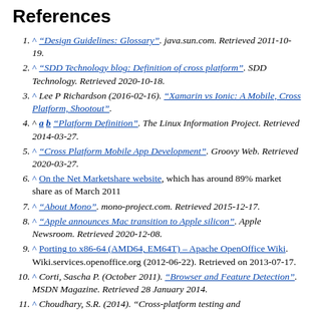References
^ "Design Guidelines: Glossary". java.sun.com. Retrieved 2011-10-19.
^ "SDD Technology blog: Definition of cross platform". SDD Technology. Retrieved 2020-10-18.
^ Lee P Richardson (2016-02-16). "Xamarin vs Ionic: A Mobile, Cross Platform, Shootout".
^ a b "Platform Definition". The Linux Information Project. Retrieved 2014-03-27.
^ "Cross Platform Mobile App Development". Groovy Web. Retrieved 2020-03-27.
^ On the Net Marketshare website, which has around 89% market share as of March 2011
^ "About Mono". mono-project.com. Retrieved 2015-12-17.
^ "Apple announces Mac transition to Apple silicon". Apple Newsroom. Retrieved 2020-12-08.
^ Porting to x86-64 (AMD64, EM64T) – Apache OpenOffice Wiki. Wiki.services.openoffice.org (2012-06-22). Retrieved on 2013-07-17.
^ Corti, Sascha P. (October 2011). "Browser and Feature Detection". MSDN Magazine. Retrieved 28 January 2014.
^ Choudhary, S.R. (2014). "Cross-platform testing and